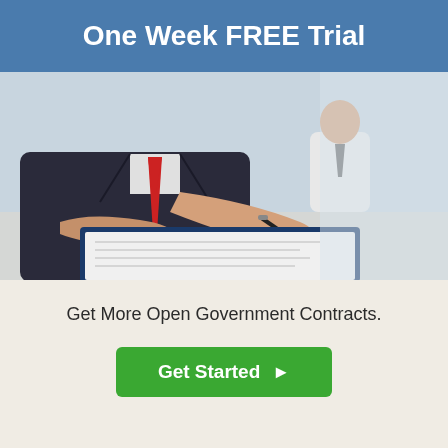One Week FREE Trial
[Figure (photo): Business professional in dark suit with red tie signing a document with a pen on a clipboard, another person in background, office setting]
Get More Open Government Contracts.
Get Started ▶